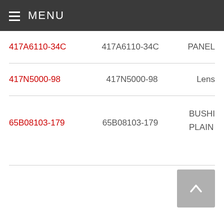≡ MENU
417A6110-34C | 417A6110-34C | PANEL
417N5000-98 | 417N5000-98 | Lens
65B08103-179 | 65B08103-179 | BUSHING PLAIN